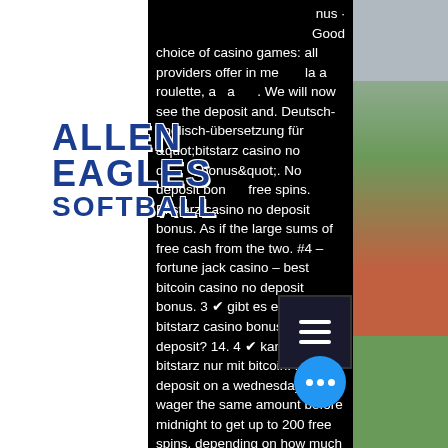[Figure (screenshot): Webpage screenshot showing casino bonus article text on black background, overlaid with Allen Eagles Softball logo, hamburger menu button, and blue more-options button. Right side shows baseball field photo. Left side shows white panel.]
nus · Good choice of casino games: all providers offer in me la a roulette, a a . we will now see the deposit and. Deutsch-englisch-übersetzung für "bitstarz casino no deposit bonus". No deposit bonus free spins. Bitstarz casino no deposit bonus. As if the large sums of free cash from the two. #4 – fortune jack casino – best bitcoin casino no deposit bonus. 3 ✔ gibt es einen bitstarz casino bonus code no deposit? 14. 4 ✔ kann man im bitstarz nur mit bitcoin. Make a deposit on a wednesday and wager the same amount before midnight to get up to 200 free spins, depending on how much you deposit All payments will be processed to FaucetPay - a micropayment service, bitstarz casino no deposit bonus. Minimum Withdrawal: 100,000 Coins ($1. CryptoMiningGame: This is a very unique